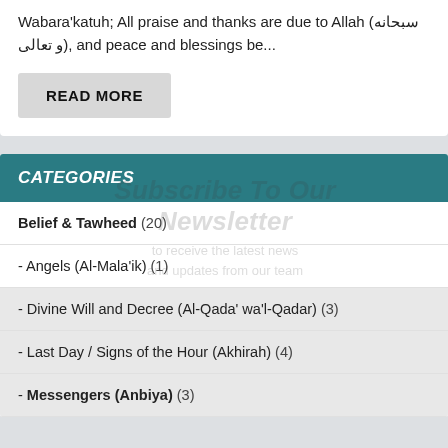Wabara'katuh; All praise and thanks are due to Allah (سبحانه و تعالى), and peace and blessings be...
READ MORE
CATEGORIES
Belief & Tawheed (20)
- Angels (Al-Mala'ik) (1)
- Divine Will and Decree (Al-Qada' wa'l-Qadar) (3)
- Last Day / Signs of the Hour (Akhirah) (4)
- Messengers (Anbiya) (3)